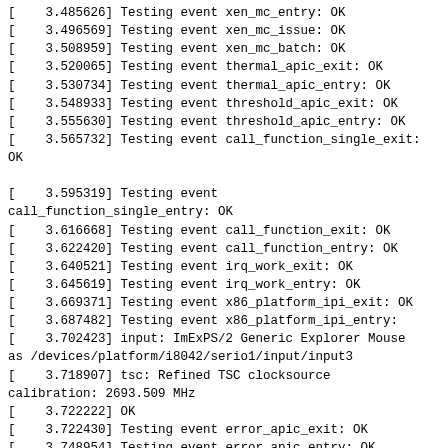[    3.485626] Testing event xen_mc_entry: OK
[    3.496569] Testing event xen_mc_issue: OK
[    3.508959] Testing event xen_mc_batch: OK
[    3.520065] Testing event thermal_apic_exit: OK
[    3.530734] Testing event thermal_apic_entry: OK
[    3.548933] Testing event threshold_apic_exit: OK
[    3.555630] Testing event threshold_apic_entry: OK
[    3.565732] Testing event call_function_single_exit:
OK

[    3.595319] Testing event
call_function_single_entry: OK
[    3.616668] Testing event call_function_exit: OK
[    3.622420] Testing event call_function_entry: OK
[    3.640521] Testing event irq_work_exit: OK
[    3.645619] Testing event irq_work_entry: OK
[    3.669371] Testing event x86_platform_ipi_exit: OK
[    3.687482] Testing event x86_platform_ipi_entry:
[    3.702423] input: ImExPS/2 Generic Explorer Mouse
as /devices/platform/i8042/serio1/input/input3
[    3.718907] tsc: Refined TSC clocksource
calibration: 2693.509 MHz
[    3.722222] OK
[    3.722430] Testing event error_apic_exit: OK
[    3.748954] Testing event error_apic_entry: OK
[    3.769463] Testing event spurious_apic_exit: OK
[    3.778959] Testing event spurious_apic_entry: OK
[    3.800189] Testing event reschedule_exit: OK
[    3.818415] Testing event reschedule_entry: OK
[    3.825624] Testing event local_timer_exit: OK
[    3.892834] Testing event local_timer_entry: OK